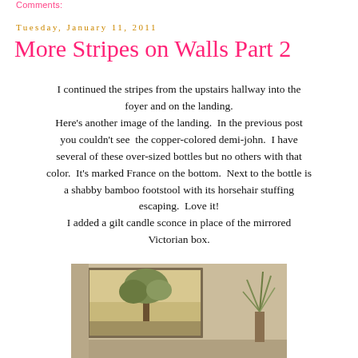Comments:
Tuesday, January 11, 2011
More Stripes on Walls Part 2
I continued the stripes from the upstairs hallway into the foyer and on the landing. Here's another image of the landing.  In the previous post you couldn't see  the copper-colored demi-john.  I have several of these over-sized bottles but no others with that color.  It's marked France on the bottom.  Next to the bottle is a shabby bamboo footstool with its horsehair stuffing escaping.  Love it! I added a gilt candle sconce in place of the mirrored Victorian box.
[Figure (photo): Interior room photo showing a landscape painting on a wall, and a plant/vase to the right, with warm beige/tan tones]